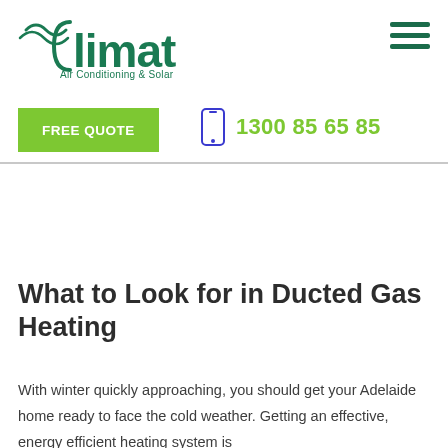[Figure (logo): Climat Air Conditioning & Solar logo in teal/green with wave graphic]
[Figure (other): Hamburger menu icon (three horizontal lines) in dark teal]
FREE QUOTE
1300 85 65 85
What to Look for in Ducted Gas Heating
With winter quickly approaching, you should get your Adelaide home ready to face the cold weather. Getting an effective, energy efficient heating system is